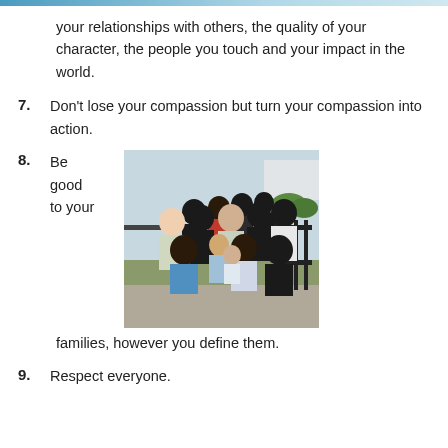your relationships with others, the quality of your character, the people you touch and your impact in the world.
7. Don't lose your compassion but turn your compassion into action.
8. Be good to your [photo] families, however you define them.
[Figure (photo): A large group of people posing together outdoors at what appears to be a community event, smiling and gesturing at the camera.]
9. Respect everyone.